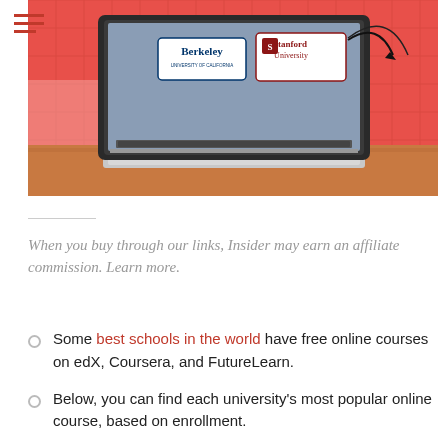[Figure (photo): Laptop with Berkeley and Stanford University logos on screen, on a wooden desk with reddish-pink geometric background pattern]
When you buy through our links, Insider may earn an affiliate commission. Learn more.
Some best schools in the world have free online courses on edX, Coursera, and FutureLearn.
Below, you can find each university's most popular online course, based on enrollment.